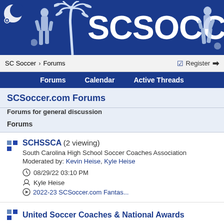[Figure (logo): SCSoccer.com banner with blue background, white bold text SCSOCCER.CO, palm tree, moon/crescent, and soccer player silhouettes]
SC Soccer > Forums   Register
Forums   Calendar   Active Threads
SCSoccer.com Forums
Forums for general discussion
Forums
SCHSSCA (2 viewing)
South Carolina High School Soccer Coaches Association
Moderated by: Kevin Heise, Kyle Heise
08/29/22 03:10 PM
Kyle Heise
2022-23 SCSoccer.com Fantas...
United Soccer Coaches & National Awards